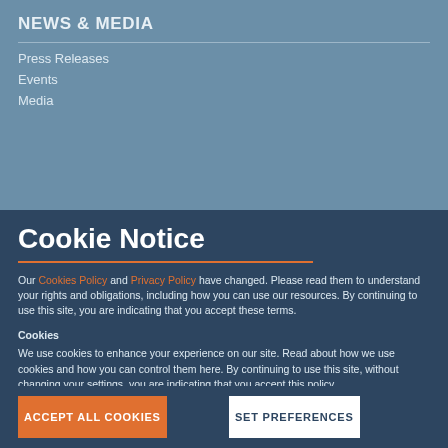NEWS & MEDIA
Press Releases
Events
Media
Cookie Notice
Our Cookies Policy and Privacy Policy have changed. Please read them to understand your rights and obligations, including how you can use our resources. By continuing to use this site, you are indicating that you accept these terms.
Cookies
We use cookies to enhance your experience on our site. Read about how we use cookies and how you can control them here. By continuing to use this site, without changing your settings, you are indicating that you accept this policy.
ACCEPT ALL COOKIES
SET PREFERENCES